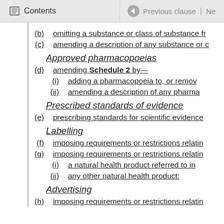Contents | Previous clause | Ne
(b) omitting a substance or class of substance fr
(c) amending a description of any substance or c
Approved pharmacopoeias
(d) amending Schedule 2 by—
(i) adding a pharmacopoeia to, or remov
(ii) amending a description of any pharma
Prescribed standards of evidence
(e) prescribing standards for scientific evidence
Labelling
(f) imposing requirements or restrictions relatin
(g) imposing requirements or restrictions relatin
(i) a natural health product referred to in
(ii) any other natural health product:
Advertising
(h) imposing requirements or restrictions relatin